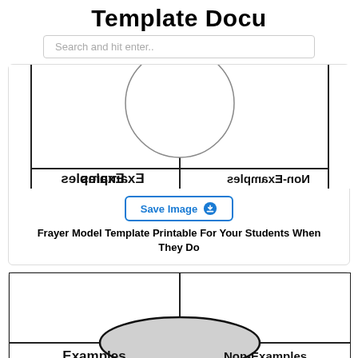Template Docu
Search and hit enter..
[Figure (illustration): Top portion of a Frayer Model graphic organizer showing 'Examples' on the left and 'Non-Examples' on the right, with a circle at the top center and a vertical line below it.]
Frayer Model Template Printable For Your Students When They Do
[Figure (illustration): Bottom Frayer Model graphic organizer showing a 4-quadrant grid with 'Examples' label on the lower left and 'Non-Examples' on the lower right, with a gray oval in the center.]